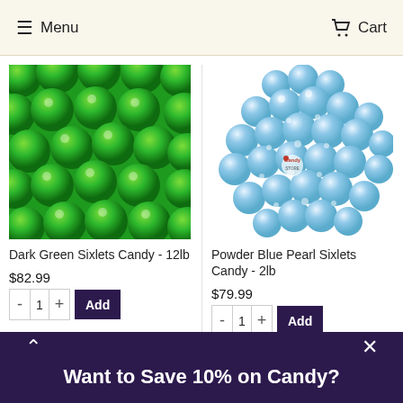Menu   Cart
[Figure (photo): Dark green candy-coated chocolate balls (Sixlets), tightly packed filling the frame]
Dark Green Sixlets Candy - 12lb
$82.99
[Figure (photo): Powder blue pearl candy-coated balls (Sixlets) in a pile with Candy Store logo watermark]
Powder Blue Pearl Sixlets Candy - 2lb
$79.99
Want to Save 10% on Candy?